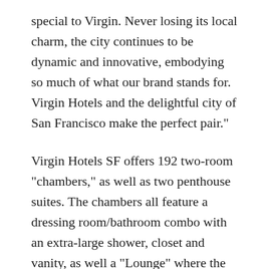special to Virgin. Never losing its local charm, the city continues to be dynamic and innovative, embodying so much of what our brand stands for. Virgin Hotels and the delightful city of San Francisco make the perfect pair."
Virgin Hotels SF offers 192 two-room "chambers," as well as two penthouse suites. The chambers all feature a dressing room/bathroom combo with an extra-large shower, closet and vanity, as well a "Lounge" where the bed is located — and Virgin Hotels has a patented "lounge bed" that's ergonomically designed. Mini fridges are